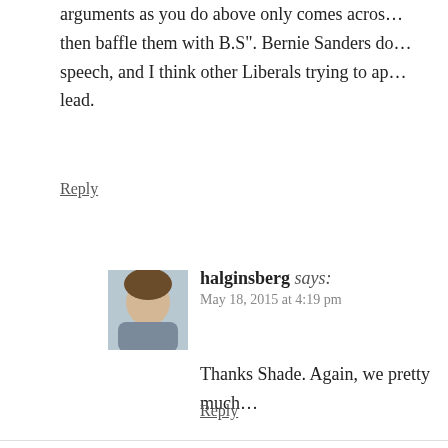arguments as you do above only comes across... then baffle them with B.S". Bernie Sanders do... speech, and I think other Liberals trying to ap... lead.
Reply
halginsberg says:
May 18, 2015 at 4:19 pm
Thanks Shade. Again, we pretty much...
Reply
Leave a Reply to Shade Cancel reply
Your email address will not be published. Required fields are m...
Comment *